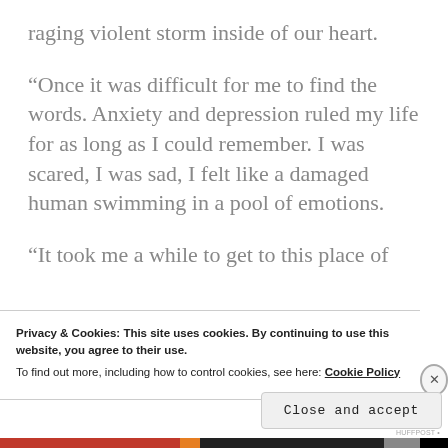raging violent storm inside of our heart.
“Once it was difficult for me to find the words. Anxiety and depression ruled my life for as long as I could remember. I was scared, I was sad, I felt like a damaged human swimming in a pool of emotions.
“It took me a while to get to this place of
Privacy & Cookies: This site uses cookies. By continuing to use this website, you agree to their use.
To find out more, including how to control cookies, see here: Cookie Policy
Close and accept